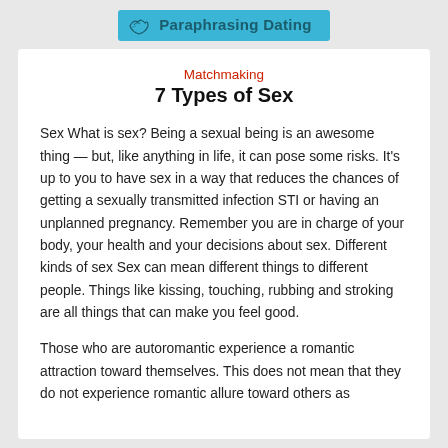Paraphrasing Dating
Matchmaking
7 Types of Sex
Sex What is sex? Being a sexual being is an awesome thing — but, like anything in life, it can pose some risks. It's up to you to have sex in a way that reduces the chances of getting a sexually transmitted infection STI or having an unplanned pregnancy. Remember you are in charge of your body, your health and your decisions about sex. Different kinds of sex Sex can mean different things to different people. Things like kissing, touching, rubbing and stroking are all things that can make you feel good.
Those who are autoromantic experience a romantic attraction toward themselves. This does not mean that they do not experience romantic allure toward others as